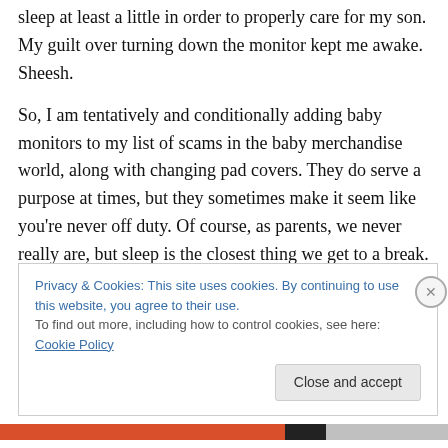sleep at least a little in order to properly care for my son. My guilt over turning down the monitor kept me awake. Sheesh.
So, I am tentatively and conditionally adding baby monitors to my list of scams in the baby merchandise world, along with changing pad covers. They do serve a purpose at times, but they sometimes make it seem like you're never off duty. Of course, as parents, we never really are, but sleep is the closest thing we get to a break. Embrace it as much as you can.
Privacy & Cookies: This site uses cookies. By continuing to use this website, you agree to their use.
To find out more, including how to control cookies, see here: Cookie Policy
Close and accept